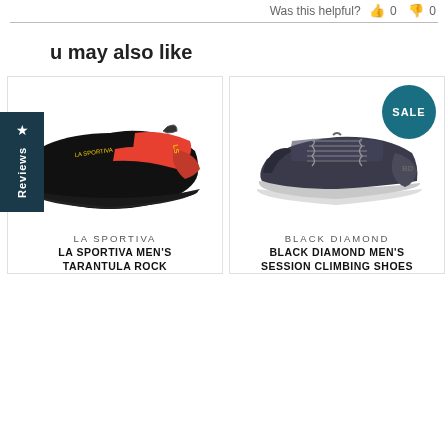Was this helpful? 👍 0 👎 0
You may also like
[Figure (photo): La Sportiva climbing shoe - black with red/orange strap, La Sportiva branding in yellow]
LA SPORTIVA
LA SPORTIVA MEN'S TARANTULA ROCK
[Figure (photo): Black Diamond men's sneaker-style climbing shoe in dark grey/black with laces, SALE badge]
BLACK DIAMOND
BLACK DIAMOND MEN'S SESSION CLIMBING SHOES